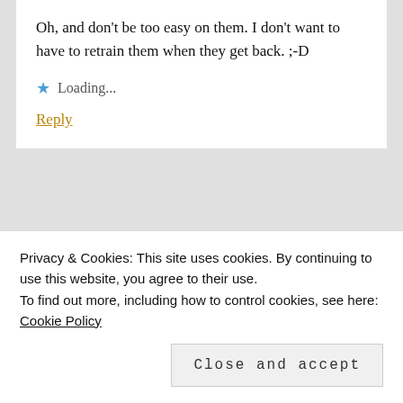Oh, and don't be too easy on them. I don't want to have to retrain them when they get back. ;-D
Loading...
Reply
Leave a Reply
Privacy & Cookies: This site uses cookies. By continuing to use this website, you agree to their use.
To find out more, including how to control cookies, see here: Cookie Policy
Close and accept